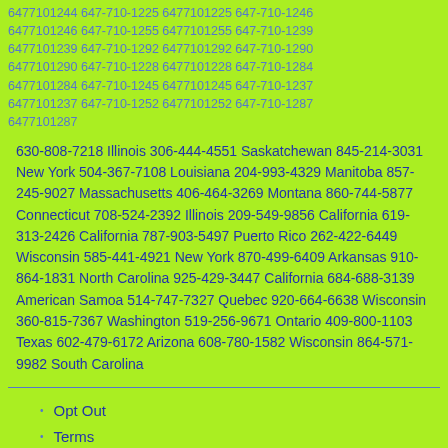6477101244 647-710-1225 6477101225 647-710-1246 6477101246 647-710-1255 6477101255 647-710-1239 6477101239 647-710-1292 6477101292 647-710-1290 6477101290 647-710-1228 6477101228 647-710-1284 6477101284 647-710-1245 6477101245 647-710-1237 6477101237 647-710-1252 6477101252 647-710-1287 6477101287
630-808-7218 Illinois 306-444-4551 Saskatchewan 845-214-3031 New York 504-367-7108 Louisiana 204-993-4329 Manitoba 857-245-9027 Massachusetts 406-464-3269 Montana 860-744-5877 Connecticut 708-524-2392 Illinois 209-549-9856 California 619-313-2426 California 787-903-5497 Puerto Rico 262-422-6449 Wisconsin 585-441-4921 New York 870-499-6409 Arkansas 910-864-1831 North Carolina 925-429-3447 California 684-688-3139 American Samoa 514-747-7327 Quebec 920-664-6638 Wisconsin 360-815-7367 Washington 519-256-9671 Ontario 409-800-1103 Texas 602-479-6172 Arizona 608-780-1582 Wisconsin 864-571-9982 South Carolina
Opt Out
Terms
Do not sell my info (California residents)
Your Privacy and Us